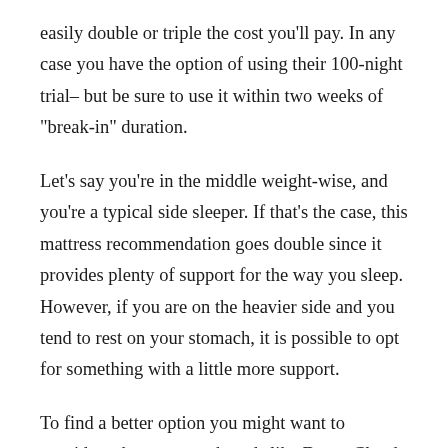easily double or triple the cost you'll pay. In any case you have the option of using their 100-night trial– but be sure to use it within two weeks of "break-in" duration.
Let's say you're in the middle weight-wise, and you're a typical side sleeper. If that's the case, this mattress recommendation goes double since it provides plenty of support for the way you sleep. However, if you are on the heavier side and you tend to rest on your stomach, it is possible to opt for something with a little more support.
To find a better option you might want to consider other mattress brands like DreamCloud. DreamCloud has a good variety of mattresses of varying firmness, so you can have a firm mattress when you need it and a more softer mattress to sleep on when you do not. Additionally, DreamCloud does come up with a price that is a little more affordable, so those